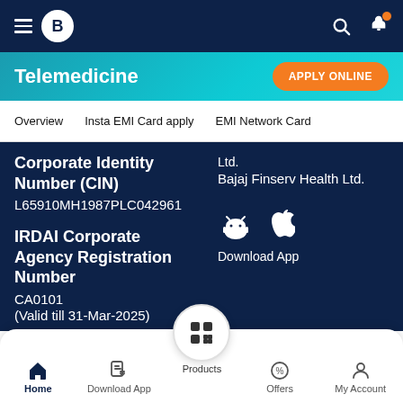[Figure (screenshot): Bajaj Finserv app top navigation bar with hamburger menu, B logo, search and notification icons]
[Figure (screenshot): Telemedicine banner with Apply Online button]
Overview    Insta EMI Card apply    EMI Network Card
Ltd.
Bajaj Finserv Health Ltd.
Corporate Identity Number (CIN)
L65910MH1987PLC042961
IRDAI Corporate Agency Registration Number
CA0101
(Valid till 31-Mar-2025)
[Figure (infographic): Android and Apple app store icons with Download App label]
[Figure (screenshot): Bottom navigation bar with Home, Download App, Products (FAB), Offers, My Account]